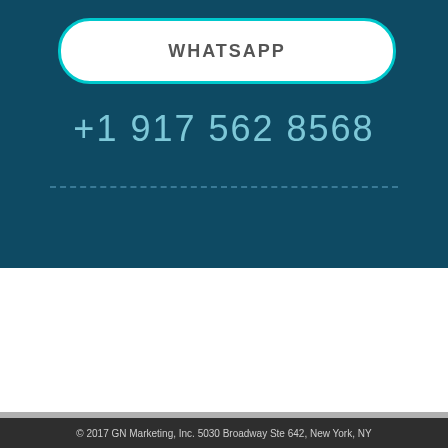WHATSAPP
+1 917 562 8568
© 2017 GN Marketing, Inc. 5030 Broadway Ste 642, New York, NY